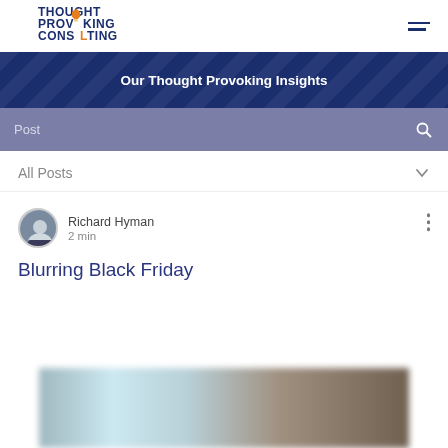[Figure (logo): Thought Provoking Consulting logo with lightbulb icon]
Our Thought Provoking Insights
Post
All Posts
Richard Hyman
2 min
Blurring Black Friday
[Figure (photo): Blurred background photo at bottom of page]